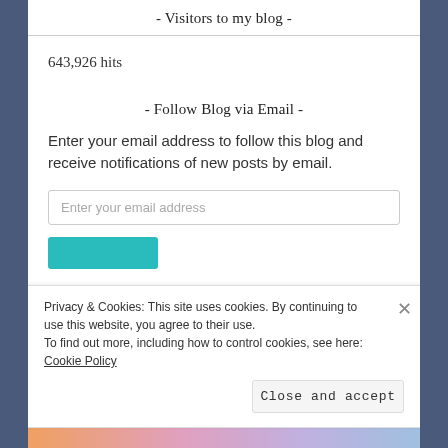- Visitors to my blog -
643,926 hits
- Follow Blog via Email -
Enter your email address to follow this blog and receive notifications of new posts by email.
Privacy & Cookies: This site uses cookies. By continuing to use this website, you agree to their use. To find out more, including how to control cookies, see here: Cookie Policy
Close and accept